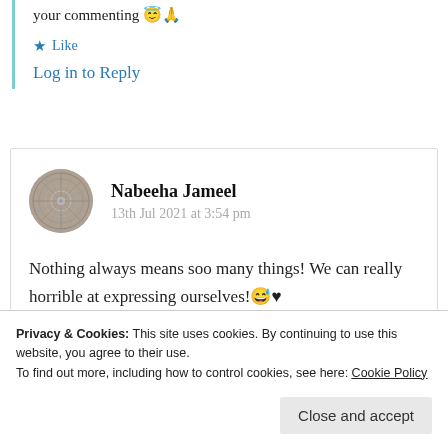your commenting 😇🙏
★ Like
Log in to Reply
Nabeeha Jameel
13th Jul 2021 at 3:54 pm
Nothing always means soo many things! We can really horrible at expressing ourselves! 😅♥
Privacy & Cookies: This site uses cookies. By continuing to use this website, you agree to their use. To find out more, including how to control cookies, see here: Cookie Policy
Close and accept